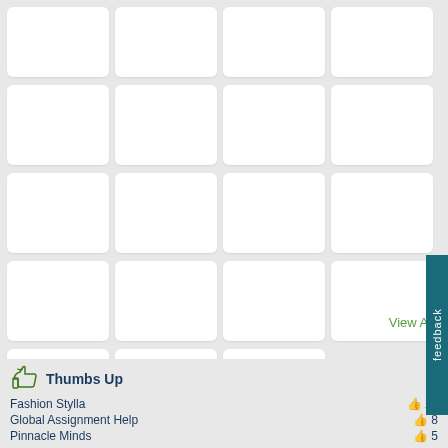[Figure (screenshot): Grid of 19 white rounded rectangular cards arranged in 5 rows of 4 (last row has 3), displayed on a light gray background]
View All
feedback
Thumbs Up
Fashion Stylla  14
Global Assignment Help  8
Pinnacle Minds  5